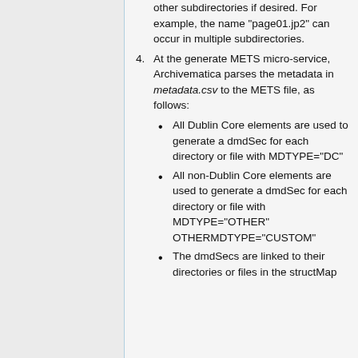other subdirectories if desired. For example, the name "page01.jp2" can occur in multiple subdirectories.
At the generate METS micro-service, Archivematica parses the metadata in metadata.csv to the METS file, as follows:
All Dublin Core elements are used to generate a dmdSec for each directory or file with MDTYPE="DC"
All non-Dublin Core elements are used to generate a dmdSec for each directory or file with MDTYPE="OTHER" OTHERMDTYPE="CUSTOM"
The dmdSecs are linked to their directories or files in the structMap